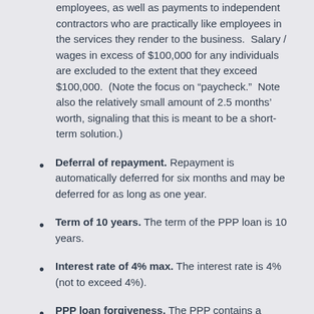employees, as well as payments to independent contractors who are practically like employees in the services they render to the business.  Salary / wages in excess of $100,000 for any individuals are excluded to the extent that they exceed $100,000.  (Note the focus on “paycheck.”  Note also the relatively small amount of 2.5 months’ worth, signaling that this is meant to be a short-term solution.)
Deferral of repayment. Repayment is automatically deferred for six months and may be deferred for as long as one year.
Term of 10 years. The term of the PPP loan is 10 years.
Interest rate of 4% max. The interest rate is 4% (not to exceed 4%).
PPP loan forgiveness. The PPP contains a forgiveness feature. The amount of the...